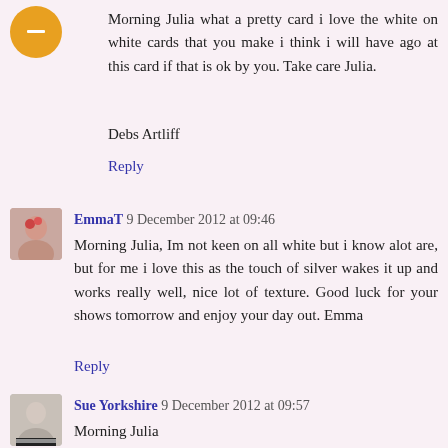Morning Julia what a pretty card i love the white on white cards that you make i think i will have ago at this card if that is ok by you. Take care Julia.
Debs Artliff
Reply
EmmaT 9 December 2012 at 09:46
Morning Julia, Im not keen on all white but i know alot are, but for me i love this as the touch of silver wakes it up and works really well, nice lot of texture. Good luck for your shows tomorrow and enjoy your day out. Emma
Reply
Sue Yorkshire 9 December 2012 at 09:57
Morning Julia
I love white on white cards and this one is stunning I love the